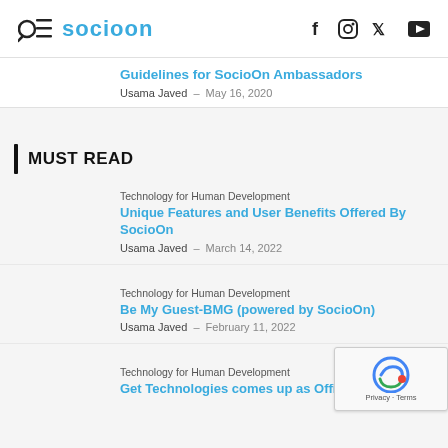SocioOn — Facebook, Instagram, Twitter, YouTube
Guidelines for SocioOn Ambassadors
Usama Javed - May 16, 2020
MUST READ
Technology for Human Development
Unique Features and User Benefits Offered By SocioOn
Usama Javed - March 14, 2022
Technology for Human Development
Be My Guest-BMG (powered by SocioOn)
Usama Javed - February 11, 2022
Technology for Human Development
Get Technologies comes up as Official